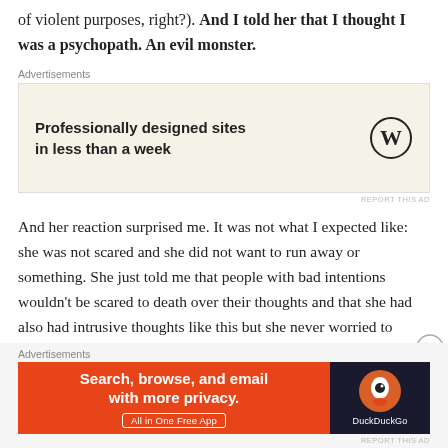of violent purposes, right?). And I told her that I thought I was a psychopath. An evil monster.
[Figure (other): Advertisement banner for WordPress: 'Professionally designed sites in less than a week' with WordPress logo]
And her reaction surprised me. It was not what I expected like: she was not scared and she did not want to run away or something. She just told me that people with bad intentions wouldn't be scared to death over their thoughts and that she had also had intrusive thoughts like this but she never worried to much about them. (Now, years later, I know that there are a lot of people who have intrusive violent thoughts but at that time this was a new piece of information to me)
[Figure (other): Advertisement banner for DuckDuckGo: 'Search, browse, and email with more privacy. All in One Free App']